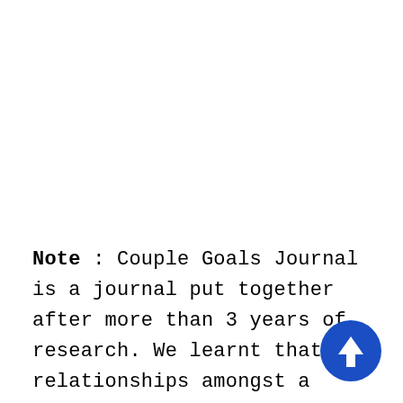Note : Couple Goals Journal is a journal put together after more than 3 years of research. We learnt that relationships amongst a couple is one of the most important relationships you
[Figure (other): Blue circular button with white upward arrow icon]